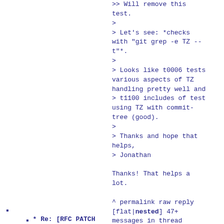>> Will remove this
test.
>
> Let's see: *checks
with "git grep -e TZ --
t"*.
>
> Looks like t0006 tests
various aspects of TZ
handling pretty well and
> t1100 includes of test
using TZ with commit-
tree (good).
>
> Thanks and hope that
helps,
> Jonathan

Thanks! That helps a
lot.
^ permalink raw reply
[flat|nested] 47+
messages in thread
* Re: [RFC PATCH